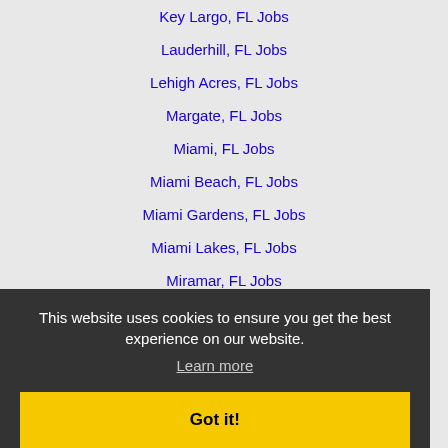Key Largo, FL Jobs
Lauderhill, FL Jobs
Lehigh Acres, FL Jobs
Margate, FL Jobs
Miami, FL Jobs
Miami Beach, FL Jobs
Miami Gardens, FL Jobs
Miami Lakes, FL Jobs
Miramar, FL Jobs
North Lauderdale, FL Jobs
North Miami, FL Jobs
Palm Beach Gardens, FL Jobs
Pembroke Pines, FL Jobs
Plantation, FL Jobs
Pompano Beach, FL Jobs
Port St. Lucie, FL Jobs
South Beach, FL Jobs
This website uses cookies to ensure you get the best experience on our website.
Learn more
Got it!